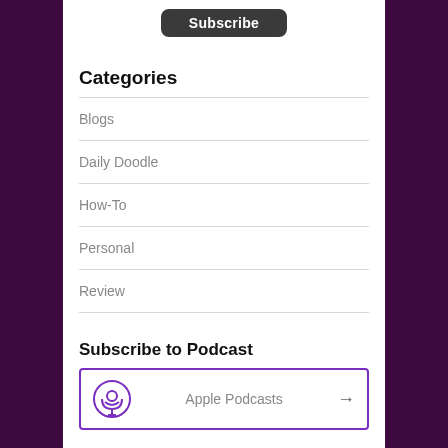[Figure (other): Subscribe button — dark rounded rectangle with white text 'Subscribe']
Categories
Blogs
Daily Doodle
How-To
Personal
Review
Subscribe to Podcast
[Figure (other): Apple Podcasts subscription card with purple podcast icon, label 'Apple Podcasts', and a right arrow]